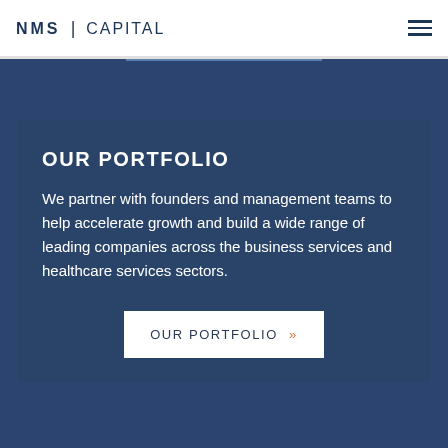NMS | CAPITAL
OUR PORTFOLIO
We partner with founders and management teams to help accelerate growth and build a wide range of leading companies across the business services and healthcare services sectors.
OUR PORTFOLIO »